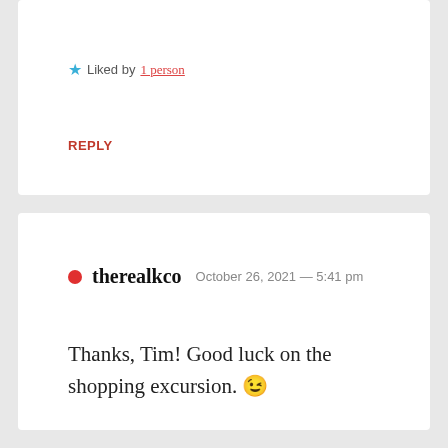★ Liked by 1 person
REPLY
● therealkco  October 26, 2021 — 5:41 pm
Thanks, Tim! Good luck on the shopping excursion. 😉
★ Like
REPLY